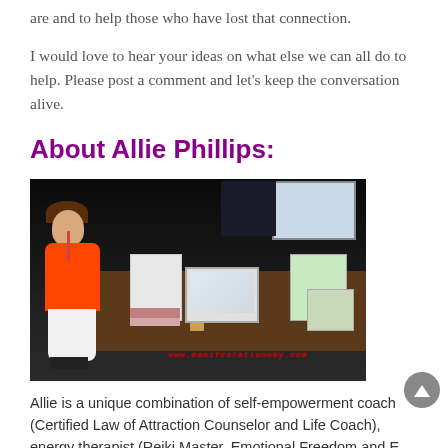are and to help those who have lost that connection.
I would love to hear your ideas on what else we can all do to help. Please post a comment and let's keep the conversation alive.
About Allie Phillips:
[Figure (photo): Photo of Allie Phillips, a woman in an orange top and white pants sitting at a display table at an event. Dark background with a projector screen visible. Watermark text reads www.manifestationway.com]
Allie is a unique combination of self-empowerment coach (Certified Law of Attraction Counselor and Life Coach), energy therapist (Reiki Master, Emotional Freedom and E...